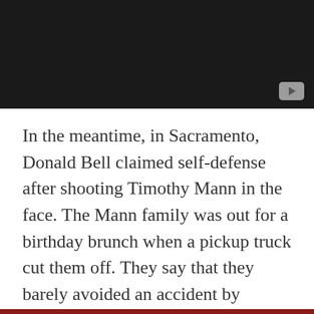[Figure (screenshot): Black video player thumbnail with a YouTube-style play button in the bottom-right corner]
In the meantime, in Sacramento, Donald Bell claimed self-defense after shooting Timothy Mann in the face. The Mann family was out for a birthday brunch when a pickup truck cut them off. They say that they barely avoided an accident by slamming on their brakes after the